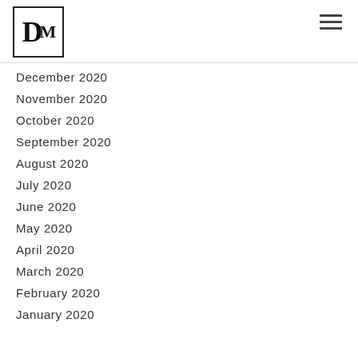DM logo and navigation
December 2020
November 2020
October 2020
September 2020
August 2020
July 2020
June 2020
May 2020
April 2020
March 2020
February 2020
January 2020